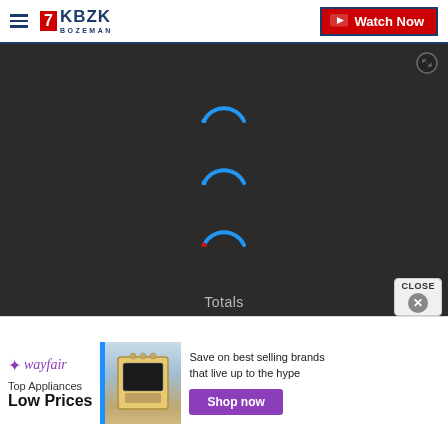[Figure (logo): KBZK Bozeman TV station logo with hamburger menu icon]
[Figure (screenshot): Video player with dark background showing three loading spinners arranged vertically and 'Totals' label at bottom, with close button overlay]
[Figure (infographic): Wayfair advertisement banner: Top Appliances Low Prices, with stove image and Shop now button]